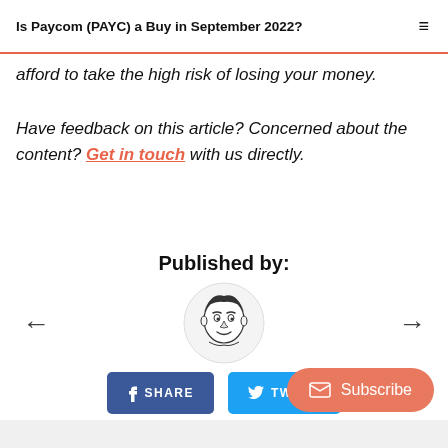Is Paycom (PAYC) a Buy in September 2022?
afford to take the high risk of losing your money.
Have feedback on this article? Concerned about the content? Get in touch with us directly.
Published by:
[Figure (illustration): Circular avatar illustration of a cartoon-style man in black and white]
SHARE  TWEET